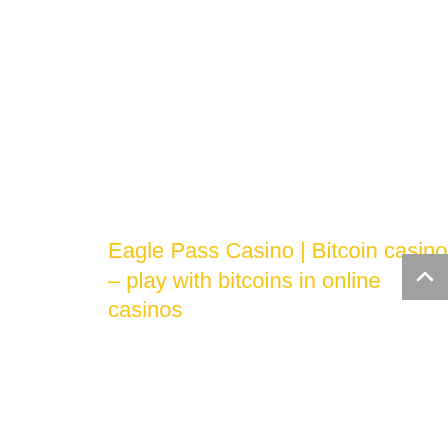Eagle Pass Casino | Bitcoin casino – play with bitcoins in online casinos
[Figure (other): Gray scroll-to-top button with upward-pointing chevron arrow, positioned at the right edge of the page]